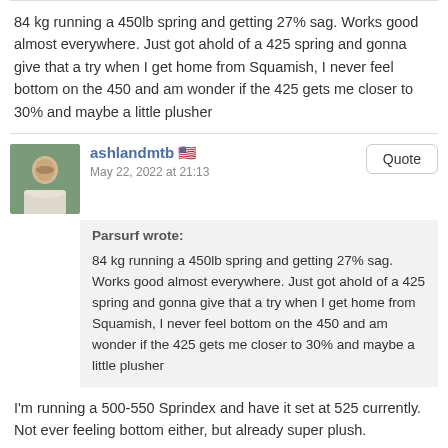84 kg running a 450lb spring and getting 27% sag. Works good almost everywhere. Just got ahold of a 425 spring and gonna give that a try when I get home from Squamish, I never feel bottom on the 450 and am wonder if the 425 gets me closer to 30% and maybe a little plusher
ashlandmtb 🇺🇸
May 22, 2022 at 21:13
Parsurf wrote:
84 kg running a 450lb spring and getting 27% sag. Works good almost everywhere. Just got ahold of a 425 spring and gonna give that a try when I get home from Squamish, I never feel bottom on the 450 and am wonder if the 425 gets me closer to 30% and maybe a little plusher
I'm running a 500-550 Sprindex and have it set at 525 currently. Not ever feeling bottom either, but already super plush.